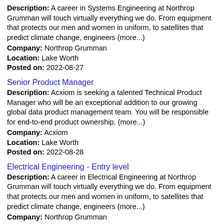Description: A career in Systems Engineering at Northrop Grumman will touch virtually everything we do. From equipment that protects our men and women in uniform, to satellites that predict climate change, engineers (more...)
Company: Northrop Grumman
Location: Lake Worth
Posted on: 2022-08-27
Senior Product Manager
Description: Acxiom is seeking a talented Technical Product Manager who will be an exceptional addition to our growing global data product management team. You will be responsible for end-to-end product ownership. (more...)
Company: Acxiom
Location: Lake Worth
Posted on: 2022-08-28
Electrical Engineering - Entry level
Description: A career in Electrical Engineering at Northrop Grumman will touch virtually everything we do. From equipment that protects our men and women in uniform, to satellites that predict climate change, engineers (more...)
Company: Northrop Grumman
Location: Lake Worth
Posted on: 2022-08-30
Senior DevOps Engineer